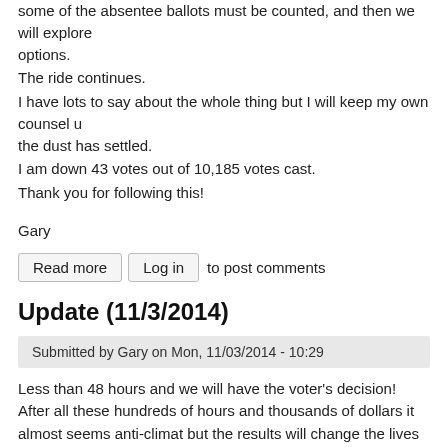some of the absentee ballots must be counted, and then we will explore options.
The ride continues.
I have lots to say about the whole thing but I will keep my own counsel u the dust has settled.
I am down 43 votes out of 10,185 votes cast.
Thank you for following this!
Gary
Read more  Log in  to post comments
Update (11/3/2014)
Submitted by Gary on Mon, 11/03/2014 - 10:29
Less than 48 hours and we will have the voter's decision! After all these hundreds of hours and thousands of dollars it almost seems anti-climat but the results will change the lives of a number of people.
Last Monday I had an 8:30A 'interview' with Leslie Thatcher at KPCW and excerpts of that interview has been posted herein under Audio -> KPCW Interview. Hearing it again, I found that it went reasonably well. My final